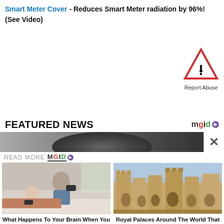Smart Meter Cover - Reduces Smart Meter radiation by 96%! (See Video)
[Figure (illustration): Warning triangle with exclamation mark (red border, white fill) with 'Report Abuse' label below]
FEATURED NEWS
[Figure (screenshot): Dark grayscale image strip showing partial silhouette of a person's head with a close X button on the right]
READ MORE mgid ▷
[Figure (photo): A man and a young girl lying on sofa playing video games with controllers]
What Happens To Your Brain When You Play Too Much Video Games?
[Figure (photo): Royal palace with Gothic architecture, stone towers with pointed spires against blue sky]
Royal Palaces Around The World That Get The Most Bragging Rights